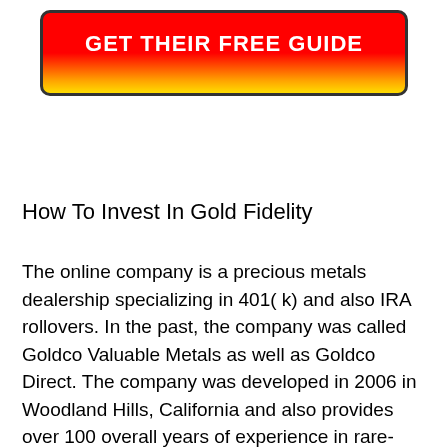[Figure (other): Red and yellow gradient button with text GET THEIR FREE GUIDE in white bold uppercase letters, dark border and rounded corners]
How To Invest In Gold Fidelity
The online company is a precious metals dealership specializing in 401( k) and also IRA rollovers. In the past, the company was called Goldco Valuable Metals as well as Goldco Direct. The company was developed in 2006 in Woodland Hills, California and also provides over 100 overall years of experience in rare-earth elements wholesaling with their website. The solutions used likewise include straight shipment of rare-earth elements to clients with 410( k) as